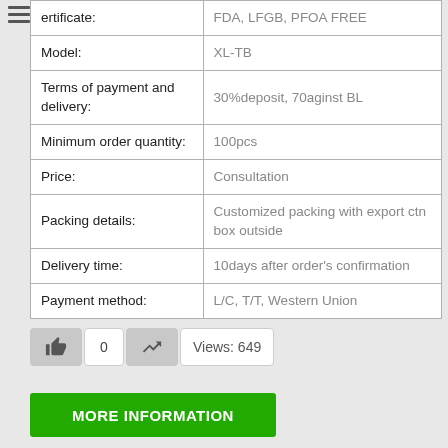| Field | Value |
| --- | --- |
| Certificate: | FDA, LFGB, PFOA FREE |
| Model: | XL-TB |
| Terms of payment and delivery: | 30%deposit, 70aginst BL |
| Minimum order quantity: | 100pcs |
| Price: | Consultation |
| Packing details: | Customized packing with export ctn box outside |
| Delivery time: | 10days after order's confirmation |
| Payment method: | L/C, T/T, Western Union |
0  Views: 649
MORE INFORMATION